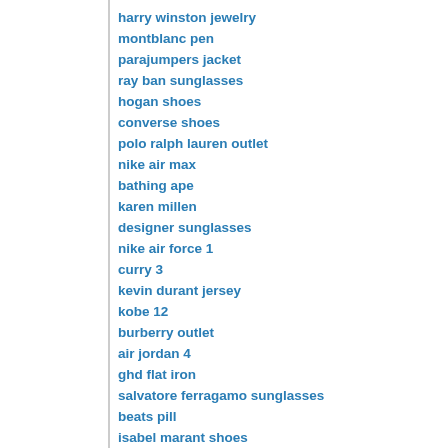harry winston jewelry
montblanc pen
parajumpers jacket
ray ban sunglasses
hogan shoes
converse shoes
polo ralph lauren outlet
nike air max
bathing ape
karen millen
designer sunglasses
nike air force 1
curry 3
kevin durant jersey
kobe 12
burberry outlet
air jordan 4
ghd flat iron
salvatore ferragamo sunglasses
beats pill
isabel marant shoes
portugal world cup jersey
coach outlet store online
air more uptempo
tiffany & co
saint laurent handbags
nike air max 2018
ralph lauren outlet